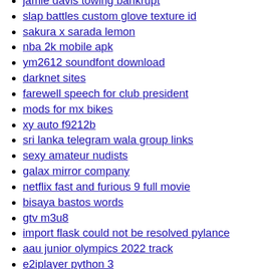jamie davis towing bankrupt
slap battles custom glove texture id
sakura x sarada lemon
nba 2k mobile apk
ym2612 soundfont download
darknet sites
farewell speech for club president
mods for mx bikes
xy auto f9212b
sri lanka telegram wala group links
sexy amateur nudists
galax mirror company
netflix fast and furious 9 full movie
bisaya bastos words
gtv m3u8
import flask could not be resolved pylance
aau junior olympics 2022 track
e2iplayer python 3
enable authorization in swagger ui
rumble elijah streams today
fsck superblock invalid
this function given a non empty array a of n integers
9xflix in home page
kane footwear reviews
aacr abstract 2022
band continuation in about